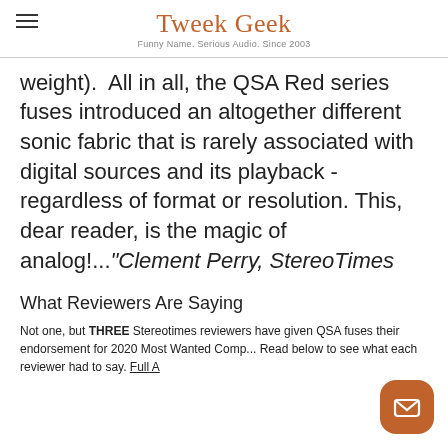Tweek Geek — Funny Name. Serious Audio. Since 2003
weight).  All in all, the QSA Red series fuses introduced an altogether different sonic fabric that is rarely associated with digital sources and its playback - regardless of format or resolution. This, dear reader, is the magic of analog!..."Clement Perry, StereoTimes
What Reviewers Are Saying
Not one, but THREE Stereotimes reviewers have given QSA fuses their endorsement for 2020 Most Wanted Comp... Read below to see what each reviewer had to say. Full A...